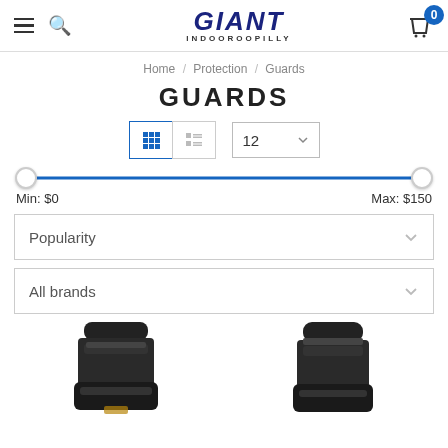GIANT INDOOROOPILLY — navigation header with menu, search, cart (0 items)
Home / Protection / Guards
GUARDS
Grid view | List view | 12 per page | Min: $0 | Max: $150 | Sort: Popularity | Filter: All brands
[Figure (screenshot): Two black knee/shin guard products shown at bottom of page]